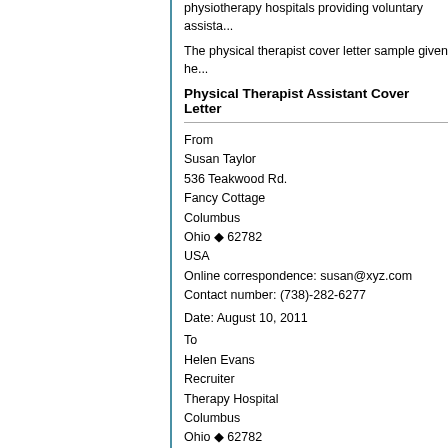physiotherapy hospitals providing voluntary assista...
The physical therapist cover letter sample given he...
Physical Therapist Assistant Cover Letter
From
Susan Taylor
536 Teakwood Rd.
Fancy Cottage
Columbus
Ohio ◆ 62782
USA
Online correspondence: susan@xyz.com
Contact number: (738)-282-6277
Date: August 10, 2011
To
Helen Evans
Recruiter
Therapy Hospital
Columbus
Ohio ◆ 62782
USA
Subject: Application for the position of physical ther...
Reference: Dr. Liam Cornet (Emp. Code: dr 738)
Dear Helen,
With an interest in seeking the position of physical...